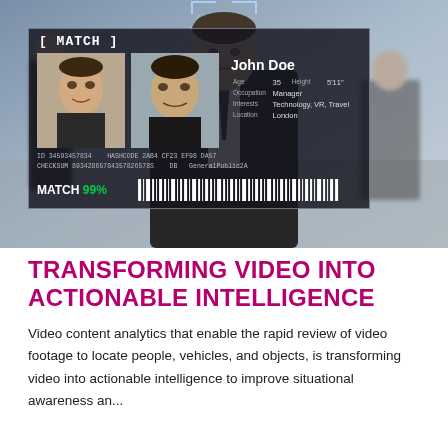[Figure (photo): Facial recognition technology overlay on a street scene showing two face thumbnails matched to a profile card for 'John Doe' with ID, hashcode, checksum, and 99% match confidence, with targeting brackets visible]
TRANSFORMING VIDEO INTO ACTIONABLE INTELLIGENCE
Video content analytics that enable the rapid review of video footage to locate people, vehicles, and objects, is transforming video into actionable intelligence to improve situational awareness an...